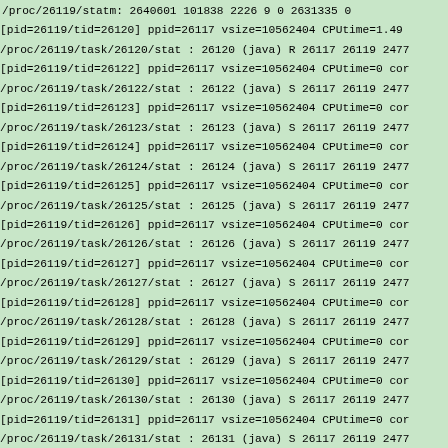/proc/26119/statm: 2640601 101838 2226 9 0 2631335 0
[pid=26119/tid=26120] ppid=26117 vsize=10562404 CPUtime=1.49
/proc/26119/task/26120/stat : 26120 (java) R 26117 26119 2477
[pid=26119/tid=26122] ppid=26117 vsize=10562404 CPUtime=0 cor
/proc/26119/task/26122/stat : 26122 (java) S 26117 26119 2477
[pid=26119/tid=26123] ppid=26117 vsize=10562404 CPUtime=0 cor
/proc/26119/task/26123/stat : 26123 (java) S 26117 26119 2477
[pid=26119/tid=26124] ppid=26117 vsize=10562404 CPUtime=0 cor
/proc/26119/task/26124/stat : 26124 (java) S 26117 26119 2477
[pid=26119/tid=26125] ppid=26117 vsize=10562404 CPUtime=0 cor
/proc/26119/task/26125/stat : 26125 (java) S 26117 26119 2477
[pid=26119/tid=26126] ppid=26117 vsize=10562404 CPUtime=0 cor
/proc/26119/task/26126/stat : 26126 (java) S 26117 26119 2477
[pid=26119/tid=26127] ppid=26117 vsize=10562404 CPUtime=0 cor
/proc/26119/task/26127/stat : 26127 (java) S 26117 26119 2477
[pid=26119/tid=26128] ppid=26117 vsize=10562404 CPUtime=0 cor
/proc/26119/task/26128/stat : 26128 (java) S 26117 26119 2477
[pid=26119/tid=26129] ppid=26117 vsize=10562404 CPUtime=0 cor
/proc/26119/task/26129/stat : 26129 (java) S 26117 26119 2477
[pid=26119/tid=26130] ppid=26117 vsize=10562404 CPUtime=0 cor
/proc/26119/task/26130/stat : 26130 (java) S 26117 26119 2477
[pid=26119/tid=26131] ppid=26117 vsize=10562404 CPUtime=0 cor
/proc/26119/task/26131/stat : 26131 (java) S 26117 26119 2477
[pid=26119/tid=26132] ppid=26117 vsize=10562404 CPUtime=0 cor
/proc/26119/task/26132/stat : 26132 (java) S 26117 26119 2477
[pid=26119/tid=26133] ppid=26117 vsize=10562404 CPUtime=0 cor
/proc/26119/task/26133/stat : 26133 (java) S 26117 26119 2477
[pid=26119/tid=26134] ppid=26117 vsize=10562404 CPUtime=0.88
/proc/26119/task/26134/stat : 26134 (java) S 26117 26119 2477
[pid=26119/tid=26135] ppid=26117 vsize=10562404 CPUtime=0.64
/proc/26119/task/26135/stat : 26135 (java) S 26117 26119 2477
[pid=26119/tid=26136] ppid=26117 vsize=10562404 CPUtime=0 cor